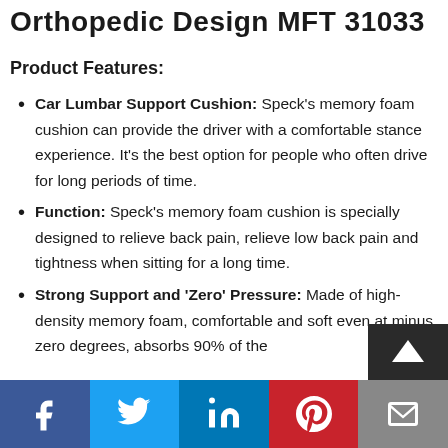Orthopedic Design MFT 31033
Product Features:
Car Lumbar Support Cushion: Speck's memory foam cushion can provide the driver with a comfortable stance experience. It's the best option for people who often drive for long periods of time.
Function: Speck's memory foam cushion is specially designed to relieve back pain, relieve low back pain and tightness when sitting for a long time.
Strong Support and ‘Zero’ Pressure: Made of high-density memory foam, comfortable and soft even at minus zero degrees, absorbs 90% of the